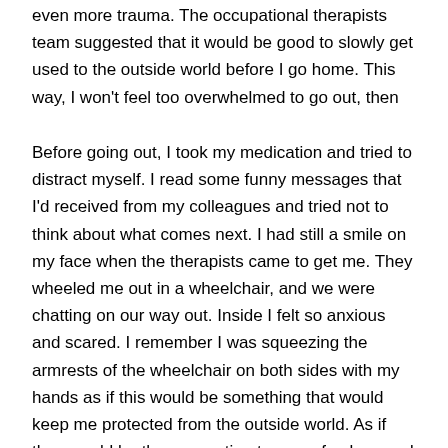even more trauma. The occupational therapists team suggested that it would be good to slowly get used to the outside world before I go home. This way, I won't feel too overwhelmed to go out, then into the car and be driven home, all in one day.
Before going out, I took my medication and tried to distract myself. I read some funny messages that I'd received from my colleagues and tried not to think about what comes next. I had still a smile on my face when the therapists came to get me. They wheeled me out in a wheelchair, and we were chatting on our way out. Inside I felt so anxious and scared. I remember I was squeezing the armrests of the wheelchair on both sides with my hands as if this would be something that would keep me protected from the outside world. As if they would be the connection to my safe place and letting them go would mean something tragic would happen to me again.
As we approached the exit, my symptoms worsened. We had to stop. Luckily my husband arrived at the hospital at that moment